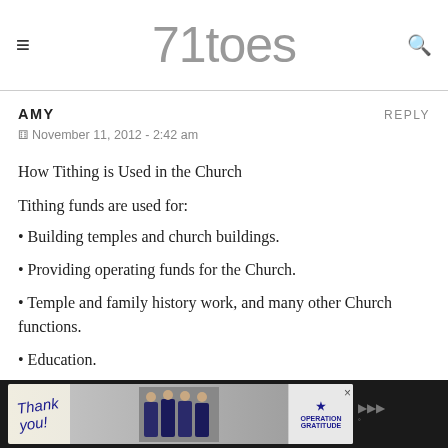71toes
AMY
REPLY
November 11, 2012 - 2:42 am
How Tithing is Used in the Church
Tithing funds are used for:
• Building temples and church buildings.
• Providing operating funds for the Church.
• Temple and family history work, and many other Church functions.
• Education.
As The Church of Jesus Christ of Latter-day Saints has a lay (unpaid) local ministry, tithing funds are not used to pay
[Figure (other): Advertisement banner at bottom of page showing Operation Gratitude ad with firefighters and 'Thank You' text]